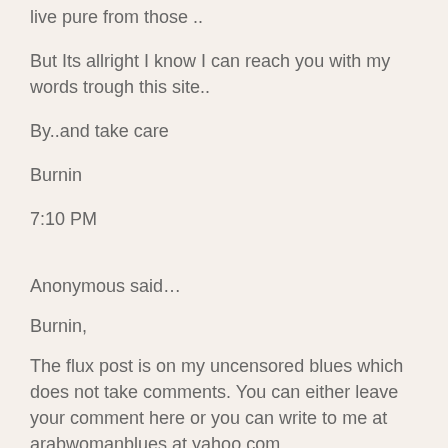live pure from those ..
But Its allright I know I can reach you with my words trough this site..
By..and take care
Burnin
7:10 PM
Anonymous said…
Burnin,
The flux post is on my uncensored blues which does not take comments. You can either leave your comment here or you can write to me at arabwomanblues.at.yahoo.com
7:33 PM
Anonymous said…